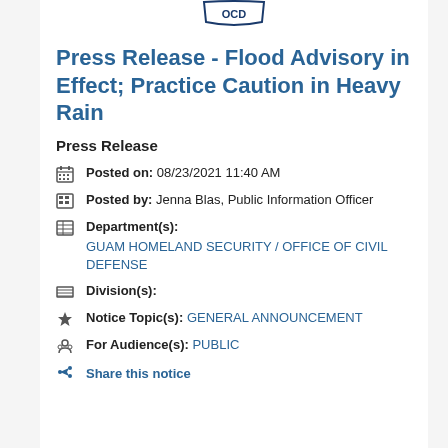[Figure (logo): Government/OCD logo at top center, partially visible]
Press Release - Flood Advisory in Effect; Practice Caution in Heavy Rain
Press Release
Posted on: 08/23/2021 11:40 AM
Posted by: Jenna Blas, Public Information Officer
Department(s): GUAM HOMELAND SECURITY / OFFICE OF CIVIL DEFENSE
Division(s):
Notice Topic(s): GENERAL ANNOUNCEMENT
For Audience(s): PUBLIC
Share this notice